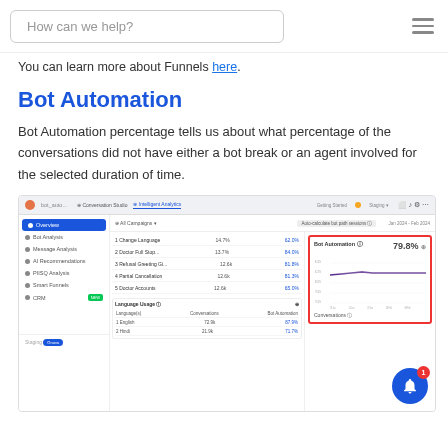How can we help?
You can learn more about Funnels here.
Bot Automation
Bot Automation percentage tells us about what percentage of the conversations did not have either a bot break or an agent involved for the selected duration of time.
[Figure (screenshot): Screenshot of Intelligent Analytics dashboard showing Bot Automation metric at 79.8% with a line chart, alongside a Language Usage table showing English at 72.9%/87.9% and Hindi at 21.9%/71.7%.]